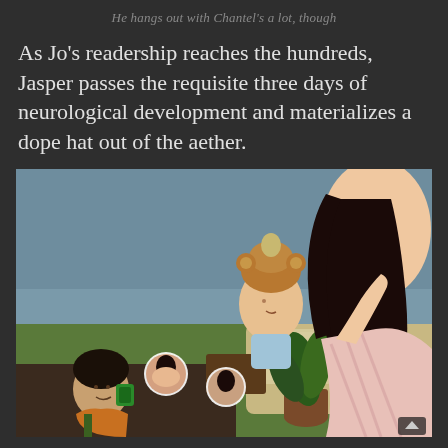He hangs out with Chantel's a lot, though
As Jo's readership reaches the hundreds, Jasper passes the requisite three days of neurological development and materializes a dope hat out of the aether.
[Figure (screenshot): Screenshot from The Sims 4 showing a toddler wearing a novelty hat being held by a woman with long dark hair, with a male Sim visible in the lower left and a potted plant in the center foreground, set in an outdoor/patio area.]